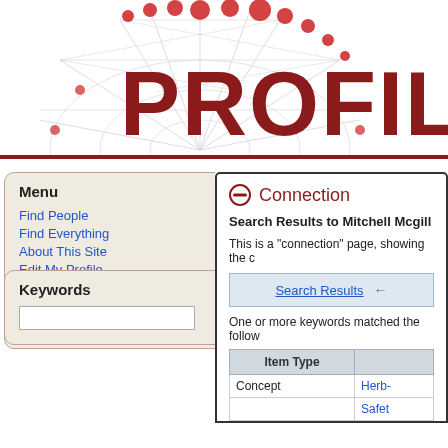[Figure (logo): PROFILES application logo with network/ferris wheel graphic and large red PROFILES text]
Menu
Find People
Find Everything
About This Site
Edit My Profile
Login to Profiles
DIRECT2Experts
Help / FAQ
Keywords
Connection
Search Results to Mitchell Mcgill
This is a "connection" page, showing the c
Search Results
One or more keywords matched the follow
| Item Type |  |
| --- | --- |
| Concept | Herb- |
|  | Safet |